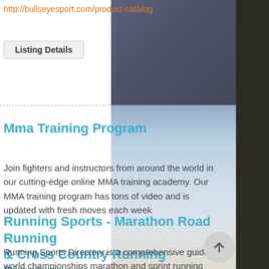http://bullseyesport.com/product-catalog
Listing Details
Mma Training Program
Join fighters and instructors from around the world in our cutting-edge online MMA training academy. Our MMA training program has tons of video and is updated with fresh moves each week
http://damagecontrolmma.com/training
Listing Details
Running Sports - Marathon Road Running & Cross Country Running Directory
Running Sports Directory is a comprehensive guide of world championships marathon and sprint running race consisting categories about trail running, ultra marathon, half marathon, relay